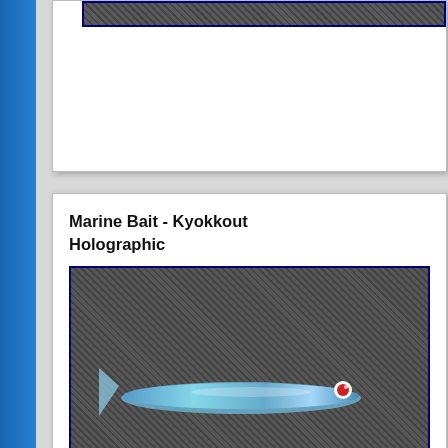[Figure (photo): Partial product card at top showing a fishing lure on dark mesh background]
Marine Bait - Kyokkou Holographic
[Figure (photo): Holographic fishing lure (blue/silver) on dark mesh/grid background]
£19.49 (£16.24
Marine Bait - Kyokkou Holographic
[Figure (photo): Yellow/green fishing lure on dark mesh/grid background]